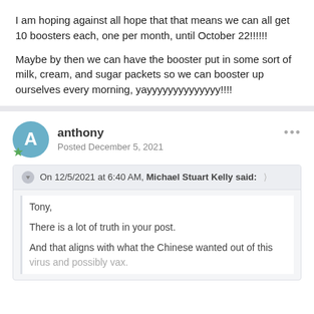I am hoping against all hope that that means we can all get 10 boosters each, one per month, until October 22!!!!!!
Maybe by then we can have the booster put in some sort of milk, cream, and sugar packets so we can booster up ourselves every morning, yayyyyyyyyyyyyyy!!!!
anthony
Posted December 5, 2021
On 12/5/2021 at 6:40 AM, Michael Stuart Kelly said:
Tony,

There is a lot of truth in your post.

And that aligns with what the Chinese wanted out of this virus and possibly vax.